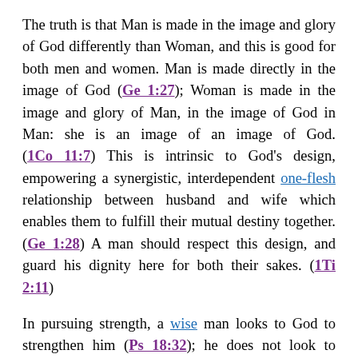The truth is that Man is made in the image and glory of God differently than Woman, and this is good for both men and women. Man is made directly in the image of God (Ge 1:27); Woman is made in the image and glory of Man, in the image of God in Man: she is an image of an image of God. (1Co 11:7) This is intrinsic to God’s design, empowering a synergistic, interdependent one-flesh relationship between husband and wife which enables them to fulfill their mutual destiny together. (Ge 1:28) A man should respect this design, and guard his dignity here for both their sakes. (1Ti 2:11)
In pursuing strength, a wise man looks to God to strengthen him (Ps 18:32); he does not look to women. He is unashamed of involuntary weakness, and will routinely take stock of his particular aptitudes and capabilities, asking God to enable and quicken him (Ps 143:11), always growing stronger.